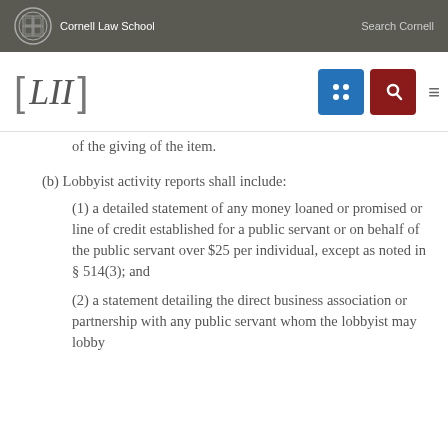Cornell Law School   Search Cornell
[Figure (logo): LII Legal Information Institute logo with navigation icons]
of the giving of the item.
(b) Lobbyist activity reports shall include:
(1) a detailed statement of any money loaned or promised or line of credit established for a public servant or on behalf of the public servant over $25 per individual, except as noted in § 514(3); and
(2) a statement detailing the direct business association or partnership with any public servant whom the lobbyist may lobby